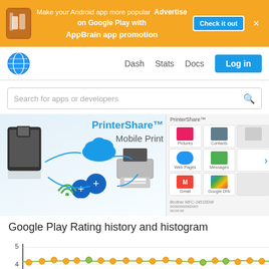[Figure (screenshot): AppBrain promotional banner: 'Make your Android app more popular. Advertise on Google Play with AppBrain app promotion'. Includes a Check it out button and close X.]
[Figure (screenshot): AppBrain website navigation bar with globe logo, Dash, Stats, Docs links, and Log in button.]
[Figure (screenshot): Search bar with placeholder 'Search for apps or developers' and magnifier icon.]
[Figure (screenshot): PrinterShare Mobile Print app promotional image showing tablet/phone, cloud, wifi/bluetooth icons, and printer. Sidebar shows app screenshots: Pictures, Contacts, Web Pages, Messages, Gmail, Google Drive categories.]
Google Play Rating history and histogram
[Figure (line-chart): Line chart showing rating history around 4.0–4.2 range with orange dots and green line. Y-axis shows values 4 and 5.]